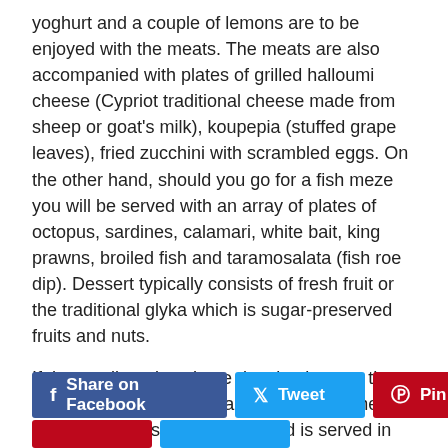yoghurt and a couple of lemons are to be enjoyed with the meats. The meats are also accompanied with plates of grilled halloumi cheese (Cypriot traditional cheese made from sheep or goat's milk), koupepia (stuffed grape leaves), fried zucchini with scrambled eggs. On the other hand, should you go for a fish meze you will be served with an array of plates of octopus, sardines, calamari, white bait, king prawns, broiled fish and taramosalata (fish roe dip). Dessert typically consists of fresh fruit or the traditional glyka which is sugar-preserved fruits and nuts.
If the small portions have deceived you at the beginning of the meal, I am sure that by the end of it you are gasping for air. Food is served in abundance and it is not expected that everything is eaten. Wash it all down with a pint of the local Keo beer or some Cypriot coffee.
[Figure (other): Social sharing buttons: Share on Facebook (blue), Tweet (cyan), Pin it (red)]